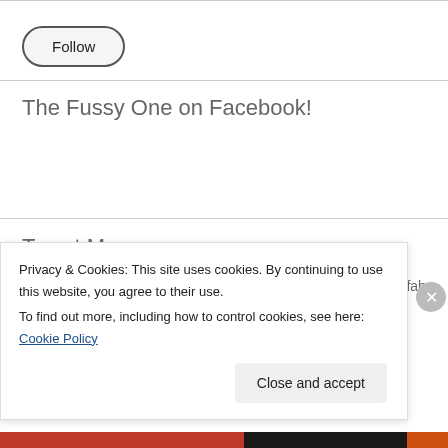[Figure (other): Follow button — rounded pill-shaped button with border and label 'Follow']
The Fussy One on Facebook!
Tweet Me
Hand made Pasta making class sponsored by Lillet! Having a fab time
Privacy & Cookies: This site uses cookies. By continuing to use this website, you agree to their use.
To find out more, including how to control cookies, see here: Cookie Policy
[Figure (other): Close and accept button for cookie consent banner]